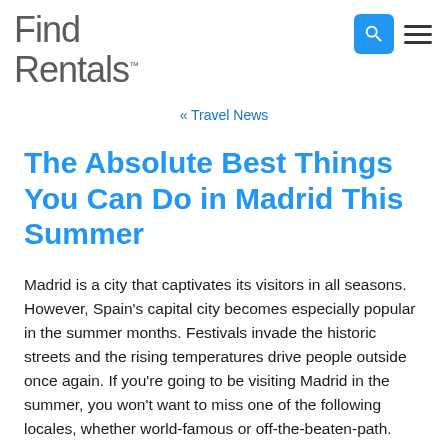Find Rentals
« Travel News
The Absolute Best Things You Can Do in Madrid This Summer
Madrid is a city that captivates its visitors in all seasons. However, Spain's capital city becomes especially popular in the summer months. Festivals invade the historic streets and the rising temperatures drive people outside once again. If you're going to be visiting Madrid in the summer, you won't want to miss one of the following locales, whether world-famous or off-the-beaten-path.
1. Enjoy One of the Many Summer Fiestas
Chances are, if you visit during the summer months, there will be